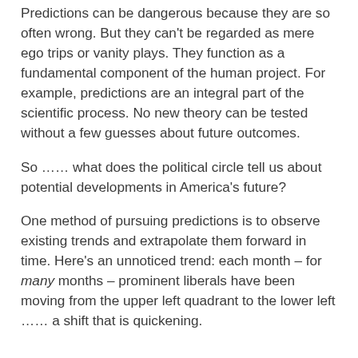Predictions can be dangerous because they are so often wrong. But they can't be regarded as mere ego trips or vanity plays. They function as a fundamental component of the human project. For example, predictions are an integral part of the scientific process. No new theory can be tested without a few guesses about future outcomes.
So …… what does the political circle tell us about potential developments in America's future?
One method of pursuing predictions is to observe existing trends and extrapolate them forward in time. Here's an unnoticed trend: each month – for many months – prominent liberals have been moving from the upper left quadrant to the lower left …… a shift that is quickening.